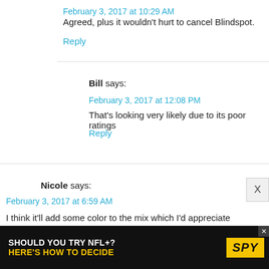February 3, 2017 at 10:29 AM
Agreed, plus it wouldn't hurt to cancel Blindspot.
Reply
Bill says:
February 3, 2017 at 12:08 PM
That's looking very likely due to its poor ratings
Reply
Nicole says:
February 3, 2017 at 6:59 AM
I think it'll add some color to the mix which I'd appreciate but Greg really needs to work on Arrow. It's terrible. Oliver Queen needs to work on himself before he should try to
[Figure (screenshot): Advertisement banner: SHOULD YOU TRY NFL+? HERE'S HOW TO DECIDE with SPY logo]